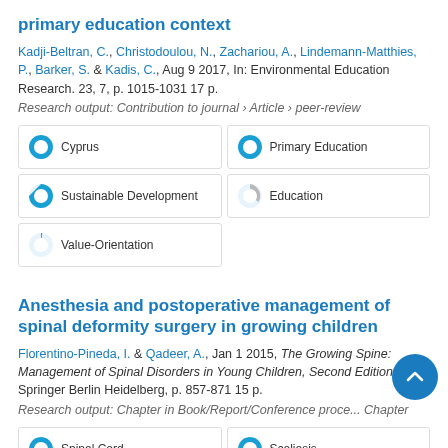primary education context
Kadji-Beltran, C., Christodoulou, N., Zachariou, A., Lindemann-Matthies, P., Barker, S. & Kadis, C., Aug 9 2017, In: Environmental Education Research. 23, 7, p. 1015-1031 17 p.
Research output: Contribution to journal › Article › peer-review
[Figure (infographic): Five keyword badges with pie chart icons: Cyprus (100%), Primary Education (100%), Sustainable Development (80%), Education (35%), Value-Orientation (10%)]
Anesthesia and postoperative management of spinal deformity surgery in growing children
Florentino-Pineda, I. & Qadeer, A., Jan 1 2015, The Growing Spine: Management of Spinal Disorders in Young Children, Second Edition. Springer Berlin Heidelberg, p. 857-871 15 p.
Research output: Chapter in Book/Report/Conference proce... Chapter
[Figure (infographic): Two keyword badges with pie chart icons: Spinal Cord (100%), Scoliosis (100%)]